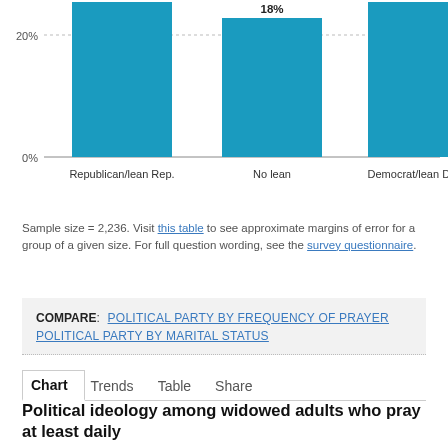[Figure (bar-chart): ]
Sample size = 2,236. Visit this table to see approximate margins of error for a group of a given size. For full question wording, see the survey questionnaire.
COMPARE: POLITICAL PARTY BY FREQUENCY OF PRAYER   POLITICAL PARTY BY MARITAL STATUS
Chart   Trends   Table   Share
Political ideology among widowed adults who pray at least daily